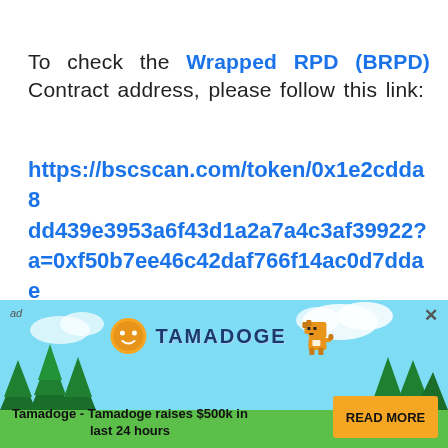To check the Wrapped RPD (BRPD) Contract address, please follow this link:
https://bscscan.com/token/0x1e2cdda8dd439e3953a6f43d1a2a7a4c3af39922?a=0xf50b7ee46c42daf766f14ac0d7ddae4301ad7cdc
[Figure (infographic): Tamadoge advertisement banner with sky/cloud background, pine trees, Tamadoge logo with coin icon and dog mascot, text 'Tamadoge - Tamadoge raises $500k in last 24 hours', and a yellow READ MORE button. Contains 'ad' label and close (x) button.]